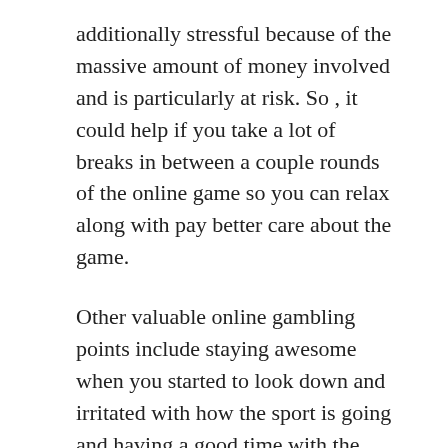additionally stressful because of the massive amount of money involved and is particularly at risk. So , it could help if you take a lot of breaks in between a couple rounds of the online game so you can relax along with pay better care about the game.
Other valuable online gambling points include staying awesome when you started to look down and irritated with how the sport is going and having a good time with the game, one other players and your income if the game became favorable for you.
Locating an online internet casino is easy, there are a lot of them all over the web. However , it's not that easy to locate a reputable one. It will require more effort you need to do some research which online casino or gaming site could be best for you. A very important factors that